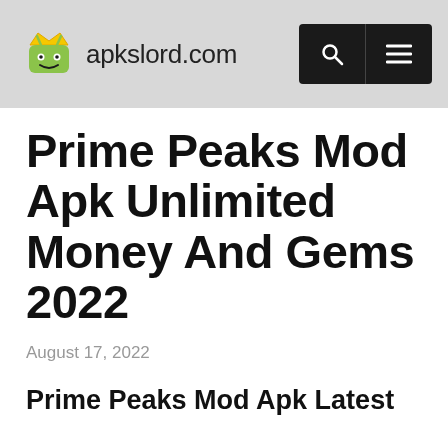apkslord.com
Prime Peaks Mod Apk Unlimited Money And Gems 2022
August 17, 2022
Prime Peaks Mod Apk Latest